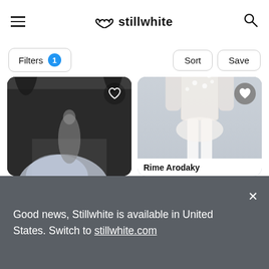stillwhite
Filters 1  Sort  Save
[Figure (photo): Left product card: outdoor photo of a woman from behind wearing a white wedding dress with floral veil spread out on a dark road, with trees in background and a heart icon overlay.]
[Figure (photo): Right product card: studio photo of a model wearing a white floral lace long-sleeve top with white cropped trousers against a grey background, with a filled heart icon overlay.]
Rime Arodaky
Good news, Stillwhite is available in United States. Switch to stillwhite.com